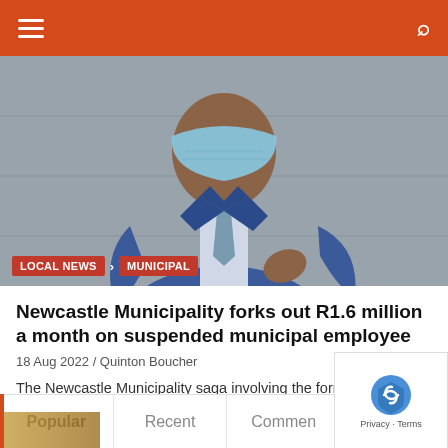[Figure (photo): A man wearing a blue suit and a face mask, standing in front of a grey wall, photographed from the torso up. Overlay tags show LOCAL NEWS and MUNICIPAL categories.]
Newcastle Municipality forks out R1.6 million a month on suspended municipal employee
18 Aug 2022 / Quinton Boucher
The Newcastle Municipality saga involving the former Acting Municipal Manager and the SED for Community Services, Vish Govender, continues.
Popular
Recent
Commen